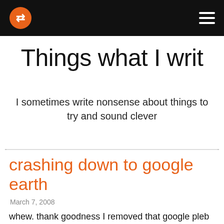Things what I writ [logo and navigation bar]
Things what I writ
I sometimes write nonsense about things to try and sound clever
crashing down to google earth
March 7, 2008
whew. thank goodness I removed that google pleb geronimator. now I can get on with stuff. just check to see if the computer comes on again this morning aaand...yes, ok.